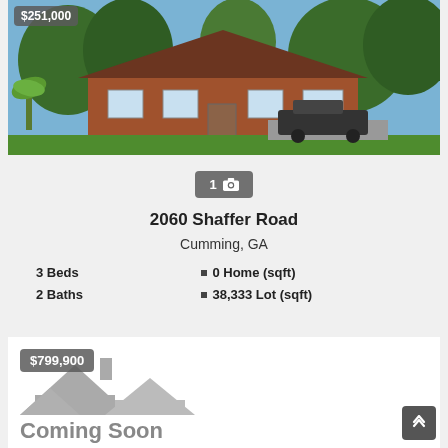[Figure (photo): Exterior photo of a brick ranch house with green lawn, trees, and a truck parked in front. Price badge showing '$251,000' in top-left corner.]
1 [camera icon]
2060 Shaffer Road
Cumming, GA
3 Beds
0 Home (sqft)
2 Baths
38,333 Lot (sqft)
[Figure (illustration): Coming Soon placeholder card with gray house icon/logo and 'Coming Soon' text. Price badge showing '$799,900'.]